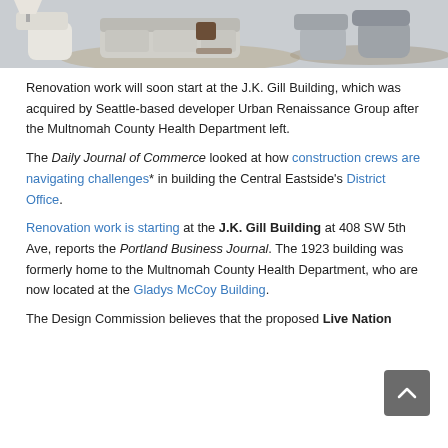[Figure (photo): Interior photo of a modern lounge/office space with sofas, chairs, and rugs on a light concrete floor]
Renovation work will soon start at the J.K. Gill Building, which was acquired by Seattle-based developer Urban Renaissance Group after the Multnomah County Health Department left.
The Daily Journal of Commerce looked at how construction crews are navigating challenges* in building the Central Eastside's District Office.
Renovation work is starting at the J.K. Gill Building at 408 SW 5th Ave, reports the Portland Business Journal. The 1923 building was formerly home to the Multnomah County Health Department, who are now located at the Gladys McCoy Building.
The Design Commission believes that the proposed Live Nation